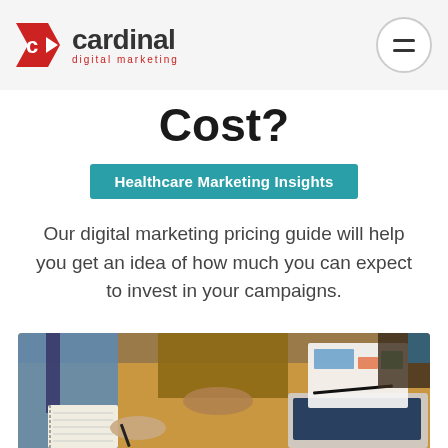Cardinal Digital Marketing
Cost?
Healthcare Marketing Insights
Our digital marketing pricing guide will help you get an idea of how much you can expect to invest in your campaigns.
[Figure (photo): Business professionals at a table with notebooks, a laptop, and charts — overhead view of a marketing or strategy meeting]